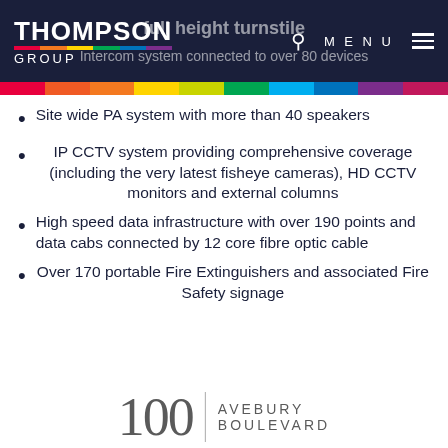[Figure (logo): Thompson Group logo in dark navy header with rainbow underline, search icon, MENU and hamburger icon. Ghost text: 'full height turnstile' and 'Intercom system connected to over 80 devices']
Site wide PA system with more than 40 speakers
IP CCTV system providing comprehensive coverage (including the very latest fisheye cameras), HD CCTV monitors and external columns
High speed data infrastructure with over 190 points and data cabs connected by 12 core fibre optic cable
Over 170 portable Fire Extinguishers and associated Fire Safety signage
[Figure (logo): 100 Avebury Boulevard logo at the bottom center]